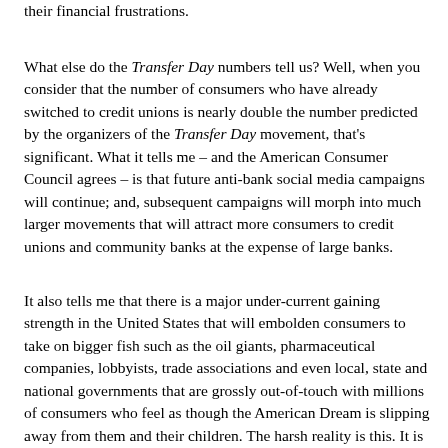their financial frustrations.
What else do the Transfer Day numbers tell us? Well, when you consider that the number of consumers who have already switched to credit unions is nearly double the number predicted by the organizers of the Transfer Day movement, that's significant. What it tells me – and the American Consumer Council agrees – is that future anti-bank social media campaigns will continue; and, subsequent campaigns will morph into much larger movements that will attract more consumers to credit unions and community banks at the expense of large banks.
It also tells me that there is a major under-current gaining strength in the United States that will embolden consumers to take on bigger fish such as the oil giants, pharmaceutical companies, lobbyists, trade associations and even local, state and national governments that are grossly out-of-touch with millions of consumers who feel as though the American Dream is slipping away from them and their children. The harsh reality is this. It is slipping away, and consumers are not going to lay down and allow that to happen.